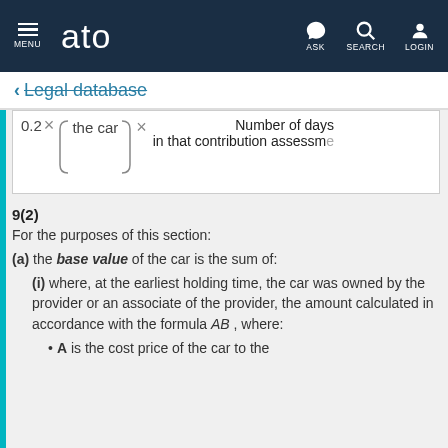MENU  ato  ASK  SEARCH  LOGIN
← Legal database
9(2)
For the purposes of this section:
(a) the base value of the car is the sum of:
(i) where, at the earliest holding time, the car was owned by the provider or an associate of the provider, the amount calculated in accordance with the formula AB, where:
A is the cost price of the car to the